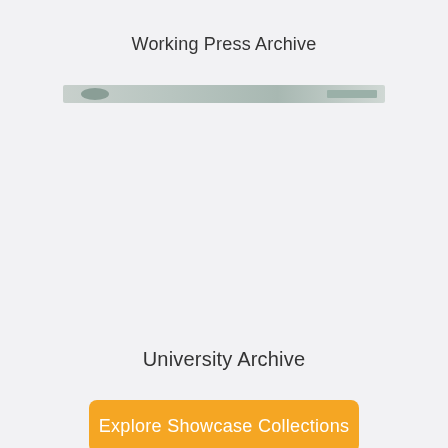Working Press Archive
[Figure (photo): A thin horizontal image showing what appears to be a document or book cover, partially visible, with a light grey/green tinted surface and some text on the right side.]
University Archive
Explore Showcase Collections